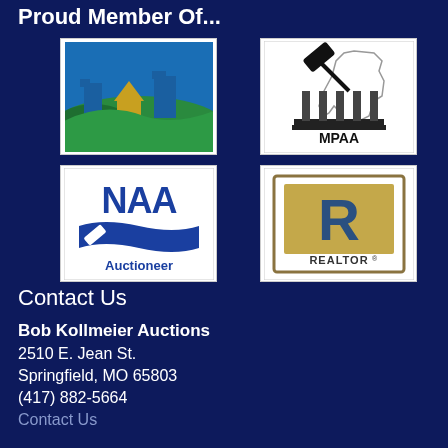Proud Member Of...
[Figure (logo): Community/real estate organization logo with buildings and landscape]
[Figure (logo): MPAA logo with gavel and Missouri state outline]
[Figure (logo): NAA Auctioneer logo with gavel]
[Figure (logo): REALTOR logo with R emblem]
Contact Us
Bob Kollmeier Auctions
2510 E. Jean St.
Springfield, MO 65803
(417) 882-5664
Contact Us